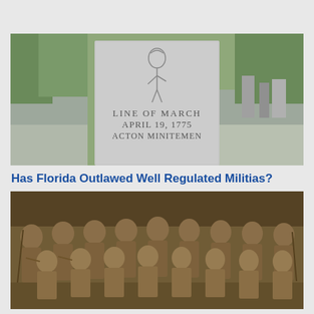[Figure (photo): Photograph of a granite memorial stone with an engraved figure of a minuteman and text reading LINE OF MARCH APRIL 19, 1775 ACTON MINUTEMEN, set alongside a road with trees and other cemetery monuments in the background.]
Has Florida Outlawed Well Regulated Militias?
[Figure (photo): Sepia-toned historical group photograph of soldiers in military uniforms, posed in rows, some holding rifles, in an outdoor setting.]
The 1911 .45...the Gun, the Myth, the Legend